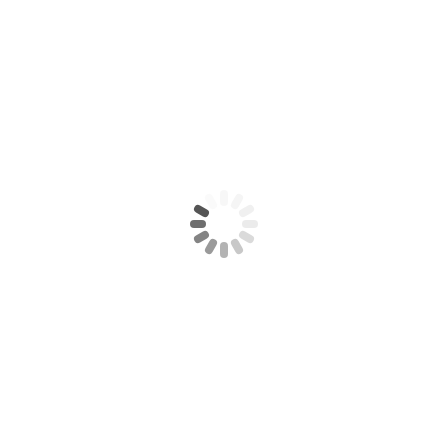[Figure (other): Loading spinner icon — a circular arrangement of short rounded dashes radiating outward, rendered in light gray on a white background, centered on the page. The dashes vary slightly in opacity suggesting a rotating animation state.]